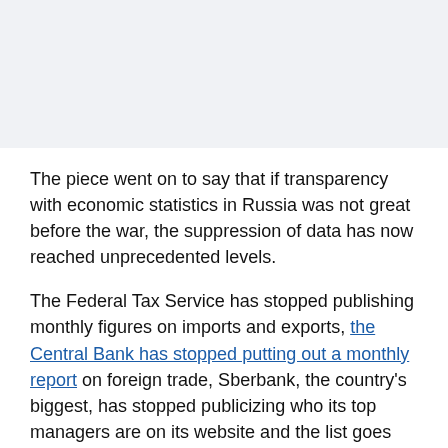[Figure (photo): Top portion of page with a light gray/blue image area placeholder]
The piece went on to say that if transparency with economic statistics in Russia was not great before the war, the suppression of data has now reached unprecedented levels.
The Federal Tax Service has stopped publishing monthly figures on imports and exports, the Central Bank has stopped putting out a monthly report on foreign trade, Sberbank, the country's biggest, has stopped publicizing who its top managers are on its website and the list goes on, according to The Bell.
Fox News spoke with Bell co-founder, editor and author of the article, Pyotr Mironenko, about what is really going on with Russia's economy, knocking Iran off its post of most